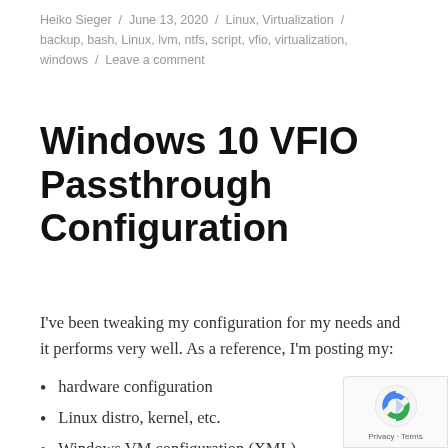Heiko Sieger / June 13, 2020 / Linux, Virtualization / backup, bash, Linux, lvm, ntfs, script, vfio, virtualization, windows / Leave a comment
Windows 10 VFIO Passthrough Configuration
I've been tweaking my configuration for my needs and it performs very well. As a reference, I'm posting my:
hardware configuration
Linux distro, kernel, etc.
Windows VM configuration (XML)